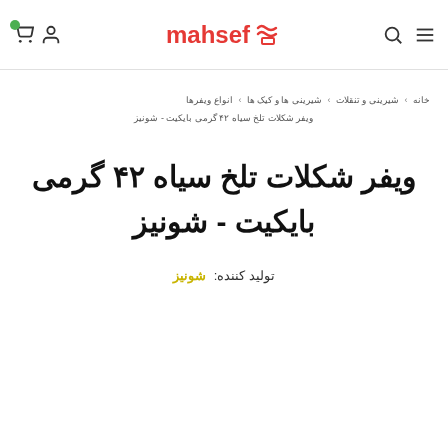mahsef - cart icon, user icon, search icon, menu icon
خانه < شیرینی و تنقلات < شیرینی ها و کیک ها < انواع ویفرها < ویفر شکلات تلخ سیاه ۴۲ گرمی بایکیت - شونیز
ویفر شکلات تلخ سیاه ۴۲ گرمی بایکیت - شونیز
تولید کننده: شونیز